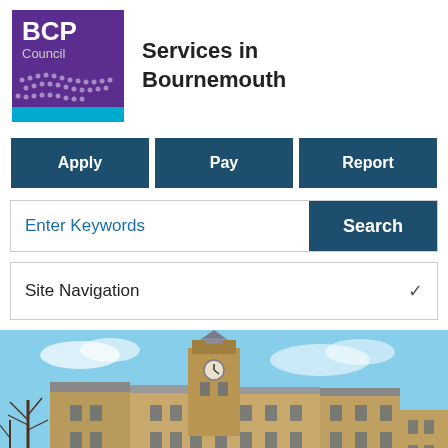[Figure (logo): BCP Council logo — purple square with 'BCP Council' text and dot-pattern graphic, blue wave at bottom]
Services in Bournemouth
Apply
Pay
Report
Enter Keywords
Search
Site Navigation
[Figure (photo): Photograph of a large Victorian/Edwardian stone building with a prominent clock tower, set against a blue sky, with bare trees in the foreground — appears to be Bournemouth Town Hall or similar civic building]